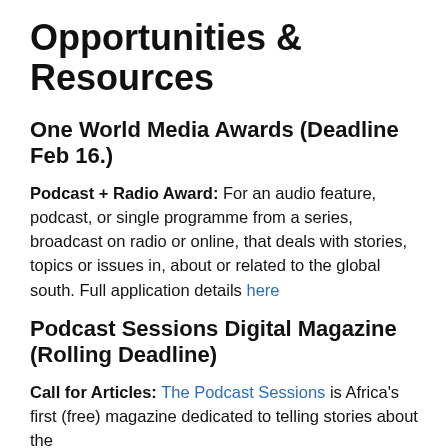Opportunities & Resources
One World Media Awards (Deadline Feb 16.)
Podcast + Radio Award: For an audio feature, podcast, or single programme from a series, broadcast on radio or online, that deals with stories, topics or issues in, about or related to the global south. Full application details here
Podcast Sessions Digital Magazine (Rolling Deadline)
Call for Articles: The Podcast Sessions is Africa's first (free) magazine dedicated to telling stories about the